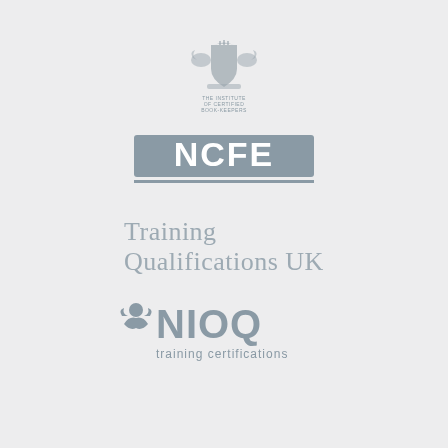[Figure (logo): The Institute of Certified Bookkeepers crest/coat of arms logo with text 'THE INSTITUTE OF CERTIFIED BOOKKEEPERS' below, rendered in grey]
[Figure (logo): NCFE logo — bold white letters 'NCFE' on a grey rectangle with a thin grey underline, rendered in grey tones]
[Figure (logo): Training Qualifications UK logo — light grey serif/sans text reading 'Training Qualifications UK' on two lines]
[Figure (logo): NIOQ training certifications logo — stylized figure icon followed by 'NIOQ' in large letters and 'training certifications' in smaller text below, all in grey]